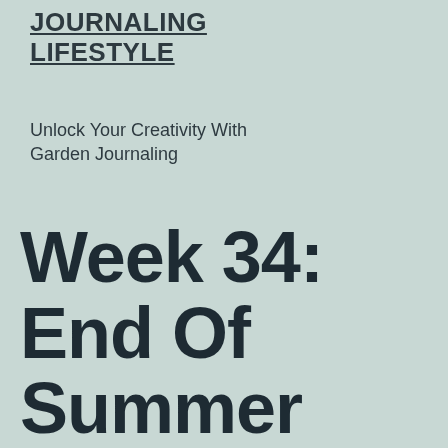JOURNALING LIFESTYLE
Unlock Your Creativity With Garden Journaling
Week 34: End Of Summer Giveaway Winners!